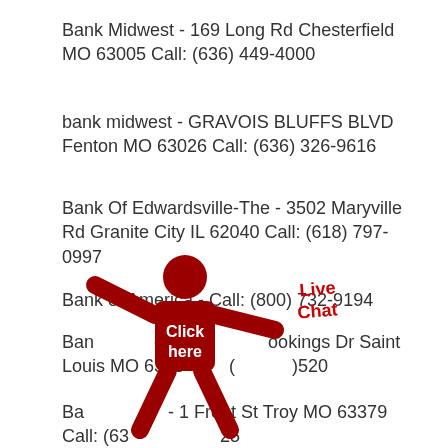Bank Midwest - 169 Long Rd Chesterfield MO 63005 Call: (636) 449-4000
bank midwest - GRAVOIS BLUFFS BLVD Fenton MO 63026 Call: (636) 326-9616
Bank Of Edwardsville-The - 3502 Maryville Rd Granite City IL 62040 Call: (618) 797-0997
Bank of America - Call: (800) 732-9194
Bank of America - [Brookings Dr] Saint Louis MO 63131 Call: (xxx) xxx-0520
[Figure (illustration): Red stick figure with 'Click here' text and 'Live Chat' label overlay]
Bank [of America] - 1 Front St Troy MO 63379 Call: (636) xxx-xx25x